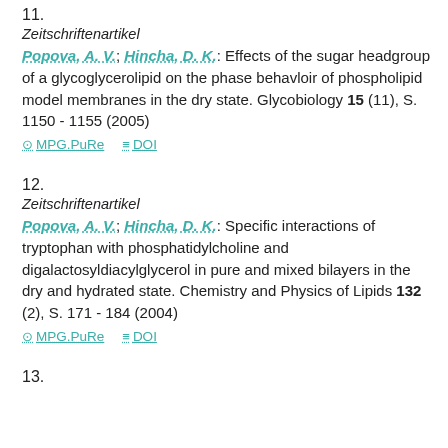11.
Zeitschriftenartikel
Popova, A. V.; Hincha, D. K.: Effects of the sugar headgroup of a glycoglycerolipid on the phase behavloir of phospholipid model membranes in the dry state. Glycobiology 15 (11), S. 1150 - 1155 (2005)
MPG.PuRe   DOI
12.
Zeitschriftenartikel
Popova, A. V.; Hincha, D. K.: Specific interactions of tryptophan with phosphatidylcholine and digalactosyldiacylglycerol in pure and mixed bilayers in the dry and hydrated state. Chemistry and Physics of Lipids 132 (2), S. 171 - 184 (2004)
MPG.PuRe   DOI
13.